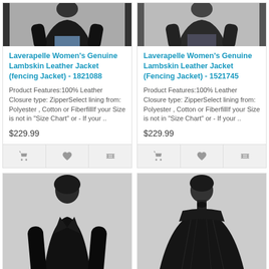[Figure (photo): Top half of a woman wearing a black leather jacket, cropped at waist]
Laverapelle Women's Genuine Lambskin Leather Jacket (fencing Jacket) - 1821088
Product Features:100% Leather Closure type: ZipperSelect lining from: Polyester , Cotton or FiberfillIf your Size is not in "Size Chart" or - If your ..
$229.99
[Figure (photo): Top half of a woman wearing a black leather jacket and grey pants, cropped at waist]
Laverapelle Women's Genuine Lambskin Leather Jacket (Fencing Jacket) - 1521745
Product Features:100% Leather Closure type: ZipperSelect lining from: Polyester , Cotton or FiberfillIf your Size is not in "Size Chart" or - If your ..
$229.99
[Figure (photo): Full length photo of a woman wearing a long black leather jacket]
[Figure (photo): Upper body photo of a woman wearing a black leather cape/jacket with tie neck]